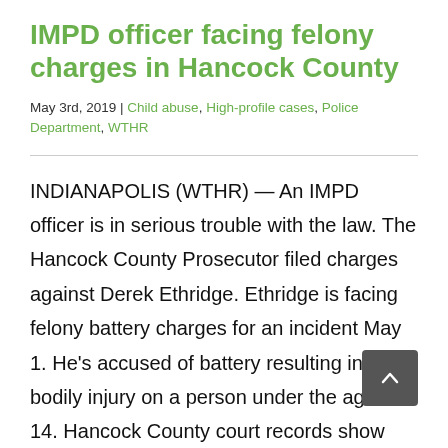IMPD officer facing felony charges in Hancock County
May 3rd, 2019 | Child abuse, High-profile cases, Police Department, WTHR
INDIANAPOLIS (WTHR) — An IMPD officer is in serious trouble with the law. The Hancock County Prosecutor filed charges against Derek Ethridge. Ethridge is facing felony battery charges for an incident May 1. He's accused of battery resulting in bodily injury on a person under the age of 14. Hancock County court records show